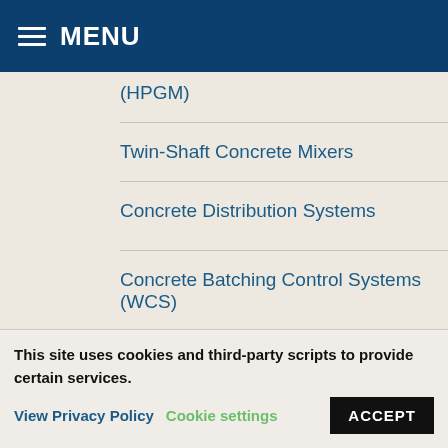MENU
(HPGM)
Twin-Shaft Concrete Mixers
Concrete Distribution Systems
Concrete Batching Control Systems (WCS)
Moisture Control Systems for Concrete Batch Plants
This site uses cookies and third-party scripts to provide certain services. View Privacy Policy   Cookie settings   ACCEPT